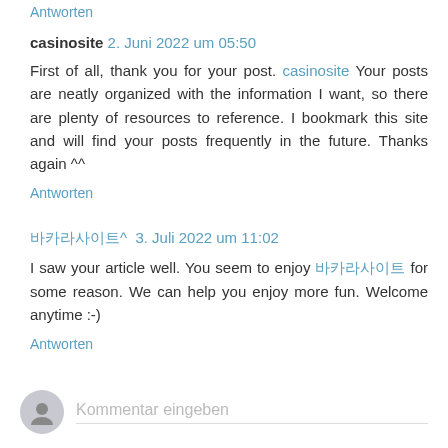Antworten
casinosite 2. Juni 2022 um 05:50
First of all, thank you for your post. casinosite Your posts are neatly organized with the information I want, so there are plenty of resources to reference. I bookmark this site and will find your posts frequently in the future. Thanks again ^^
Antworten
바카라사이트^ 3. Juli 2022 um 11:02
I saw your article well. You seem to enjoy 바카라사이트 for some reason. We can help you enjoy more fun. Welcome anytime :-)
Antworten
Kommentar eingeben